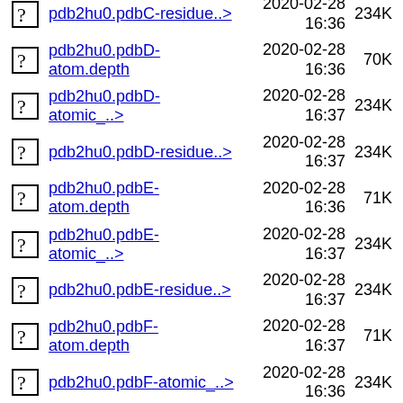pdb2hu0.pdbC-residue..> 2020-02-28 16:36 234K
pdb2hu0.pdbD-atom.depth 2020-02-28 16:36 70K
pdb2hu0.pdbD-atomic_..> 2020-02-28 16:37 234K
pdb2hu0.pdbD-residue..> 2020-02-28 16:37 234K
pdb2hu0.pdbE-atom.depth 2020-02-28 16:36 71K
pdb2hu0.pdbE-atomic_..> 2020-02-28 16:37 234K
pdb2hu0.pdbE-residue..> 2020-02-28 16:37 234K
pdb2hu0.pdbF-atom.depth 2020-02-28 16:37 71K
pdb2hu0.pdbF-atomic_..> 2020-02-28 16:36 234K
pdb2hu0.pdbF-residue..> 2020-02-28 16:36 234K
pdb2hu0.pdbG-atom.depth 2020-02-28 16:37 71K
pdb2hu0.pdbG- 2020-02-28 234K